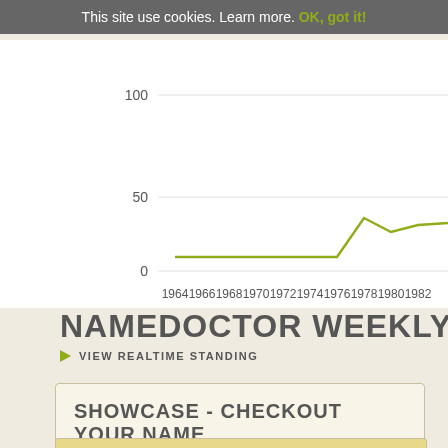This site use cookies. Learn more. OK, got it!
[Figure (line-chart): ]
NAMEDOCTOR WEEKLY R
VIEW REALTIME STANDING
SHOWCASE - CHECKOUT YOUR NAME